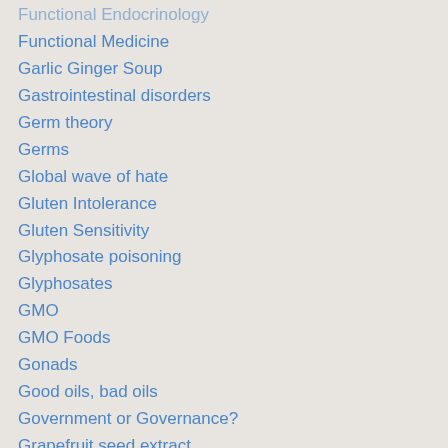Functional Endocrinology
Functional Medicine
Garlic Ginger Soup
Gastrointestinal disorders
Germ theory
Germs
Global wave of hate
Gluten Intolerance
Gluten Sensitivity
Glyphosate poisoning
Glyphosates
GMO
GMO Foods
Gonads
Good oils, bad oils
Government or Governance?
Grapefruit seed extract
Gulf Oil Spill
Gut Flora Health
Happy New Year 2016
Headl...